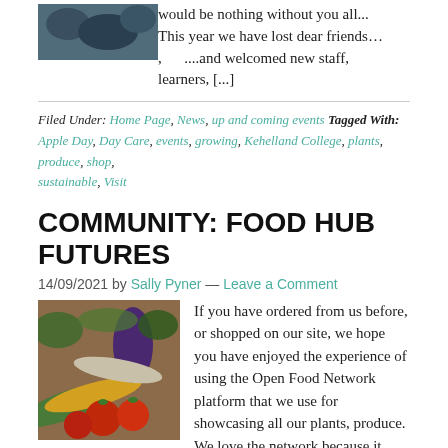[Figure (photo): Partial image at top, dark blue/grey tones, appears to be a plant or garden scene]
would be nothing without you all... This year we have lost dear friends... , ....and welcomed new staff, learners, [...]
Filed Under: Home Page, News, up and coming events Tagged With: Apple Day, Day Care, events, growing, Kehelland College, plants, produce, shop, sustainable, Visit
COMMUNITY: FOOD HUB FUTURES
14/09/2021 by Sally Pyner — Leave a Comment
[Figure (photo): Colourful vegetables including courgettes, tomatoes, aubergine arranged on a surface]
If you have ordered from us before, or shopped on our site, we hope you have enjoyed the experience of using the Open Food Network platform that we use for showcasing all our plants, produce. We love the network because it allows us to have a